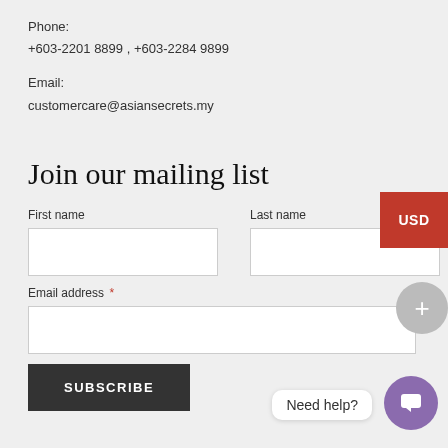Phone:
+603-2201 8899 , +603-2284 9899
Email:
customercare@asiansecrets.my
Join our mailing list
First name
Last name
Email address *
SUBSCRIBE
Need help?